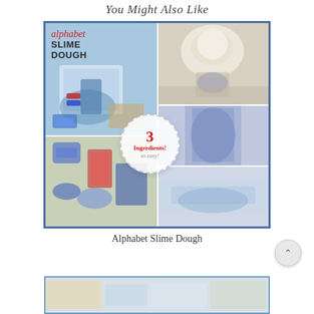You Might Also Like
[Figure (photo): Collage of 4 photos showing Alphabet Slime Dough craft project: top-left shows craft supplies with 'Alphabet SLIME DOUGH' text overlay, top-right shows a child mixing blue glitter in a bowl, middle-right shows blue glitter slime being stretched, bottom-right shows slime at a sink, bottom-left shows alphabet letter molds and glitter glue. A badge overlay reads '3 Ingredients! so easy!']
Alphabet Slime Dough
[Figure (photo): Partial bottom image strip showing another craft project, partially cut off at page bottom]